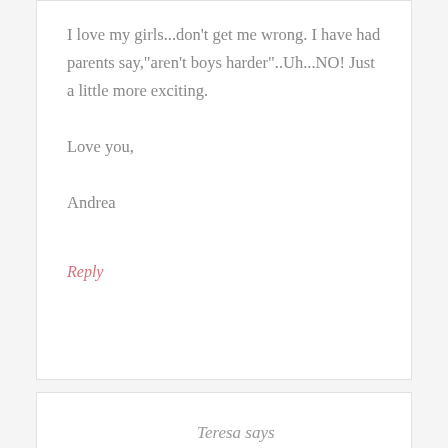I love my girls...don't get me wrong. I have had parents say,"aren't boys harder"..Uh...NO! Just a little more exciting.

Love you,

Andrea
Reply
Teresa says
november 20, 2008 at 6:27 pm